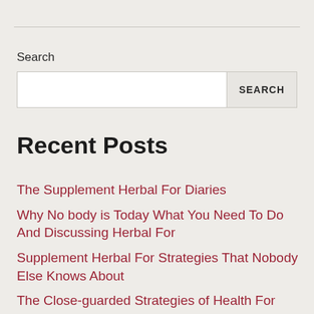Search
SEARCH
Recent Posts
The Supplement Herbal For Diaries
Why No body is Today What You Need To Do And Discussing Herbal For
Supplement Herbal For Strategies That Nobody Else Knows About
The Close-guarded Strategies of Health For Discovered
Here's What I Know About Health For